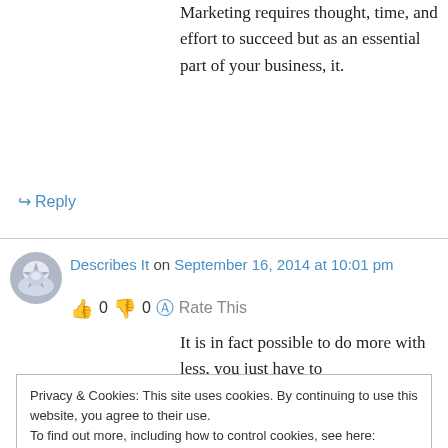Marketing requires thought, time, and effort to succeed but as an essential part of your business, it.
↳ Reply
Describes It on September 16, 2014 at 10:01 pm
👍 0 👎 0 ℹ Rate This
It is in fact possible to do more with less, you just have to
Privacy & Cookies: This site uses cookies. By continuing to use this website, you agree to their use.
To find out more, including how to control cookies, see here: Cookie Policy
Close and accept
of the team